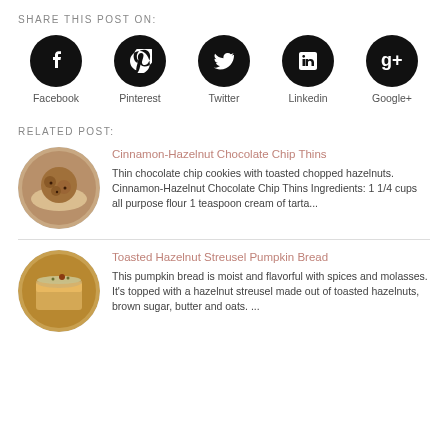SHARE THIS POST ON:
[Figure (infographic): Five social media icons (Facebook, Pinterest, Twitter, LinkedIn, Google+) as white symbols on black circles, each labeled below.]
RELATED POST:
[Figure (photo): Round thumbnail photo of stacked chocolate chip cookies on a white plate.]
Cinnamon-Hazelnut Chocolate Chip Thins
Thin chocolate chip cookies with toasted chopped hazelnuts. Cinnamon-Hazelnut Chocolate Chip Thins Ingredients: 1 1/4 cups all purpose flour 1 teaspoon cream of tarta...
[Figure (photo): Round thumbnail photo of a slice of pumpkin bread topped with hazelnut streusel.]
Toasted Hazelnut Streusel Pumpkin Bread
This pumpkin bread is moist and flavorful with spices and molasses. It's topped with a hazelnut streusel made out of toasted hazelnuts, brown sugar, butter and oats. ...